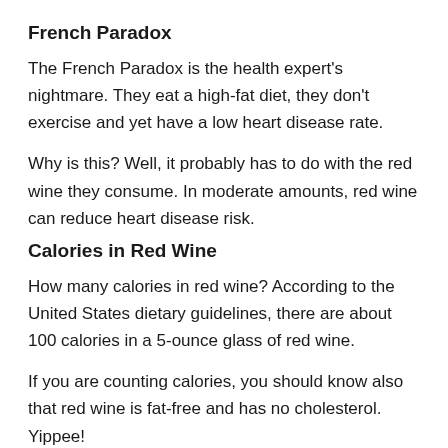French Paradox
The French Paradox is the health expert's nightmare. They eat a high-fat diet, they don't exercise and yet have a low heart disease rate.
Why is this? Well, it probably has to do with the red wine they consume. In moderate amounts, red wine can reduce heart disease risk.
Calories in Red Wine
How many calories in red wine? According to the United States dietary guidelines, there are about 100 calories in a 5-ounce glass of red wine.
If you are counting calories, you should know also that red wine is fat-free and has no cholesterol. Yippee!